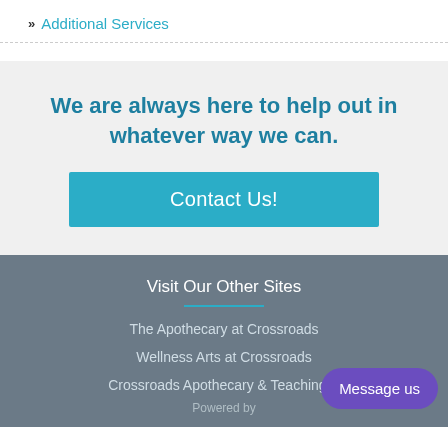» Additional Services
We are always here to help out in whatever way we can.
Contact Us!
Visit Our Other Sites
The Apothecary at Crossroads
Wellness Arts at Crossroads
Crossroads Apothecary & Teaching K
Powered by
Message us